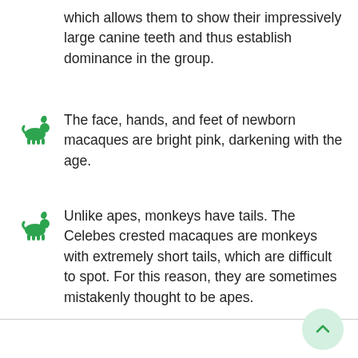which allows them to show their impressively large canine teeth and thus establish dominance in the group.
The face, hands, and feet of newborn macaques are bright pink, darkening with the age.
Unlike apes, monkeys have tails. The Celebes crested macaques are monkeys with extremely short tails, which are difficult to spot. For this reason, they are sometimes mistakenly thought to be apes.